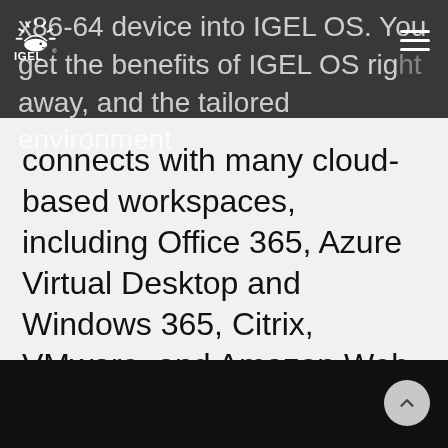IGEL navigation bar with logo and hamburger menu
x86-64 device into IGEL OS. You get the benefits of IGEL OS right away, and the tailored environment connects with many cloud-based workspaces, including Office 365, Azure Virtual Desktop and Windows 365, Citrix, VMware, and Amazon Web Services.
LEARN MORE